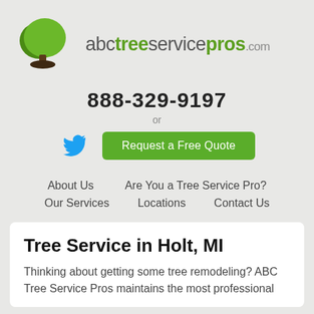[Figure (logo): ABC Tree Service Pros logo with green tree icon and text]
888-329-9197
or
[Figure (logo): Twitter bird icon in blue]
Request a Free Quote
About Us   Are You a Tree Service Pro?   Our Services   Locations   Contact Us
Tree Service in Holt, MI
Thinking about getting some tree remodeling? ABC Tree Service Pros maintains the most professional